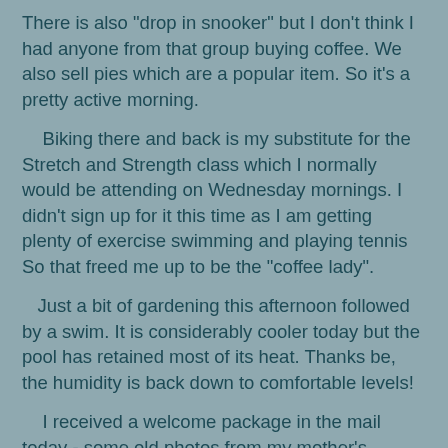There is also "drop in snooker" but I don't think I had anyone from that group buying coffee. We also sell pies which are a popular item. So it's a pretty active morning.
Biking there and back is my substitute for the Stretch and Strength class which I normally would be attending on Wednesday mornings. I didn't sign up for it this time as I am getting plenty of exercise swimming and playing tennis So that freed me up to be the "coffee lady".
Just a bit of gardening this afternoon followed by a swim. It is considerably cooler today but the pool has retained most of its heat. Thanks be, the humidity is back down to comfortable levels!
I received a welcome package in the mail today - some old photos from my mother's albums that my brother was weeding out. I hope to put them on my Tribal Pages website (http://elliot99.tribalpages.com) so I was very grateful that he saved them and sent them to me. It would be a shame if these items were lost to posterity.